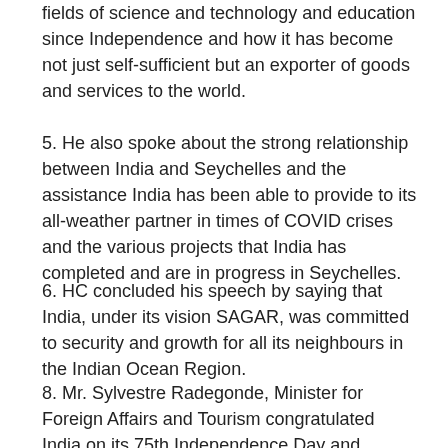fields of science and technology and education since Independence and how it has become not just self-sufficient but an exporter of goods and services to the world.
5. He also spoke about the strong relationship between India and Seychelles and the assistance India has been able to provide to its all-weather partner in times of COVID crises and the various projects that India has completed and are in progress in Seychelles.
6. HC concluded his speech by saying that India, under its vision SAGAR, was committed to security and growth for all its neighbours in the Indian Ocean Region.
8. Mr. Sylvestre Radegonde, Minister for Foreign Affairs and Tourism congratulated India on its 75th Independence Day and recognized how the Indian freedom of struggle